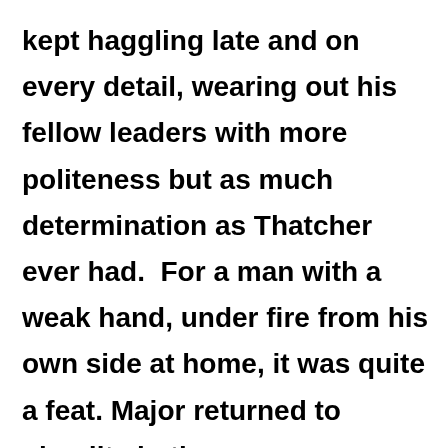kept haggling late and on every detail, wearing out his fellow leaders with more politeness but as much determination as Thatcher ever had.  For a man with a weak hand, under fire from his own side at home, it was quite a feat. Major returned to plaudits in the newspapers using the remark of an aide that it was ‘game, set and match’ to Britain.